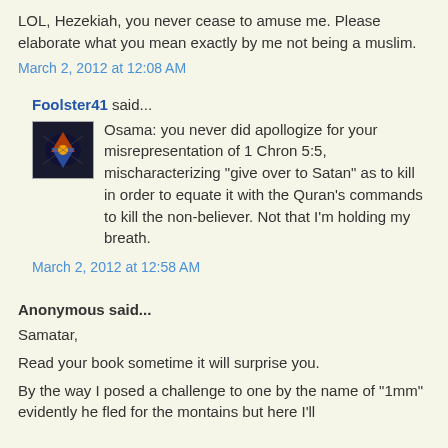LOL, Hezekiah, you never cease to amuse me. Please elaborate what you mean exactly by me not being a muslim.
March 2, 2012 at 12:08 AM
Foolster41 said...
Osama: you never did apollogize for your misrepresentation of 1 Chron 5:5, mischaracterizing "give over to Satan" as to kill in order to equate it with the Quran's commands to kill the non-believer. Not that I'm holding my breath.
March 2, 2012 at 12:58 AM
Anonymous said...
Samatar,
Read your book sometime it will surprise you.
By the way I posed a challenge to one by the name of "1mm" evidently he fled for the montains but here I'll